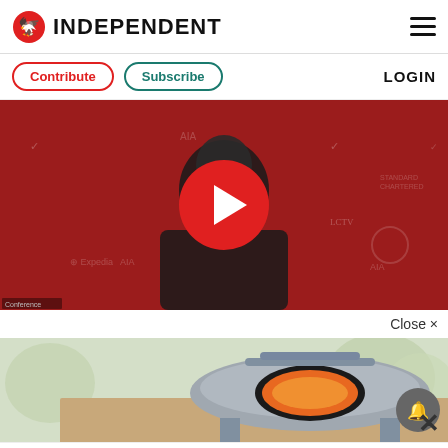Independent
Contribute   Subscribe   LOGIN
[Figure (screenshot): Video thumbnail showing a man in a black hoodie in front of a red Liverpool FC press conference backdrop with Nike, AXA, Standard Chartered logos. A large red play button is centered on the image.]
Close ×
[Figure (photo): Advertisement image of an outdoor pizza oven on a wooden surface with trees in background]
[Figure (screenshot): Bottom banner advertisement for Dairy Queen showing DQ logo with checkmarks next to Takeout and Delivery, and a navigation arrow icon on the right]